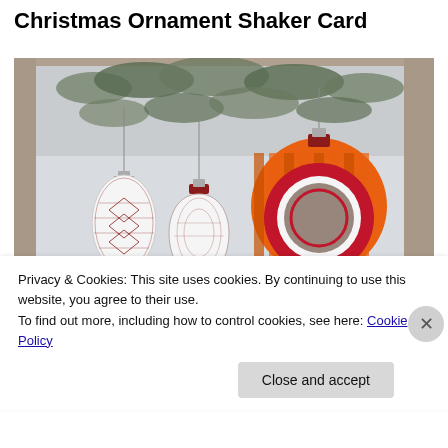Christmas Ornament Shaker Card
[Figure (photo): A handmade Christmas card featuring three decorative ornaments hanging from branches, with a circular shaker window on the right ornament showing small sequins. The card reads 'Christmas Blessings' in script and serif text. A watermark reads 'Created by' at the bottom of the card.]
Privacy & Cookies: This site uses cookies. By continuing to use this website, you agree to their use.
To find out more, including how to control cookies, see here: Cookie Policy
Close and accept